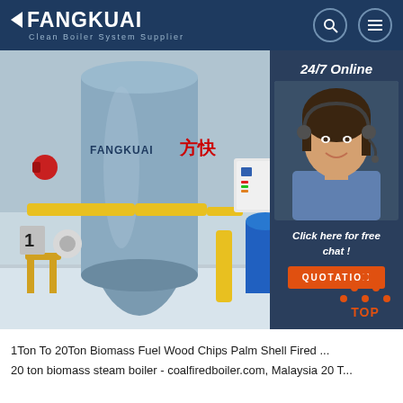FANGKUAI - Clean Boiler System Supplier
[Figure (photo): Industrial boiler (FANGKUAI branded) with yellow and red pipe fittings in a factory setting, overlaid with a 24/7 online customer service agent and a QUOTATION button]
1Ton To 20Ton Biomass Fuel Wood Chips Palm Shell Fired ...
20 ton biomass steam boiler - coalfiredboiler.com, Malaysia 20 T...